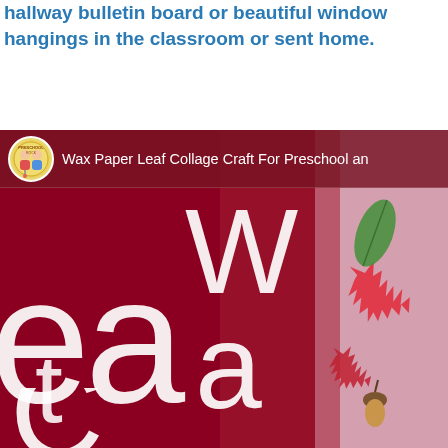hallway bulletin board or beautiful window hangings in the classroom or sent home.
[Figure (photo): Video thumbnail screenshot showing 'Wax Paper Leaf Collage Craft For Preschool and...' with large white letters on a dark red/crimson background. Right side shows pink background with colorful autumn leaves (red maple leaf, green leaf) and an acorn. A circular logo with two cartoon children figures is visible in the top left of the video header.]